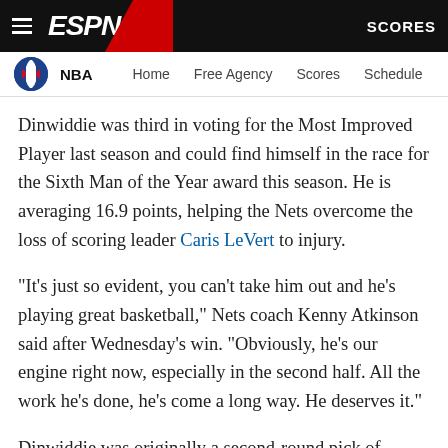ESPN — NBA | Home | Free Agency | Scores | Schedule | SCORES
Dinwiddie was third in voting for the Most Improved Player last season and could find himself in the race for the Sixth Man of the Year award this season. He is averaging 16.9 points, helping the Nets overcome the loss of scoring leader Caris LeVert to injury.
"It's just so evident, you can't take him out and he's playing great basketball," Nets coach Kenny Atkinson said after Wednesday's win. "Obviously, he's our engine right now, especially in the second half. All the work he's done, he's come a long way. He deserves it."
Dinwiddie was originally a second-round pick of Detroit in 2014 but spent his first couple seasons with the Pistons and Chicago Bulls going back and forth from the G League. His big